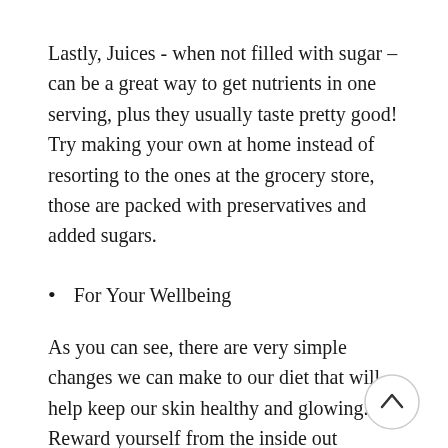Lastly, Juices - when not filled with sugar – can be a great way to get nutrients in one serving, plus they usually taste pretty good! Try making your own at home instead of resorting to the ones at the grocery store, those are packed with preservatives and added sugars.
For Your Wellbeing
As you can see, there are very simple changes we can make to our diet that will help keep our skin healthy and glowing. Reward yourself from the inside out through only a few ch… Start with little changes and let the